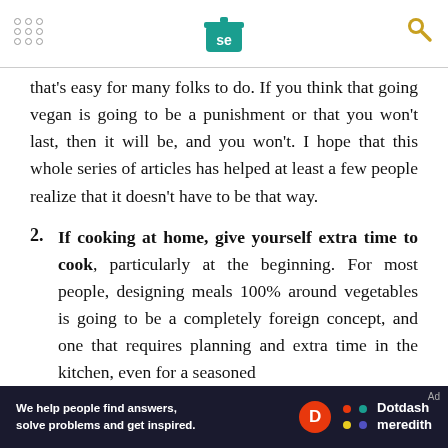SE logo header with navigation dots and search icon
that's easy for many folks to do. If you think that going vegan is going to be a punishment or that you won't last, then it will be, and you won't. I hope that this whole series of articles has helped at least a few people realize that it doesn't have to be that way.
2. If cooking at home, give yourself extra time to cook, particularly at the beginning. For most people, designing meals 100% around vegetables is going to be a completely foreign concept, and one that requires planning and extra time in the kitchen, even for a seasoned
[Figure (other): Dotdash Meredith advertisement banner: 'We help people find answers, solve problems and get inspired.' with Dotdash Meredith logo]